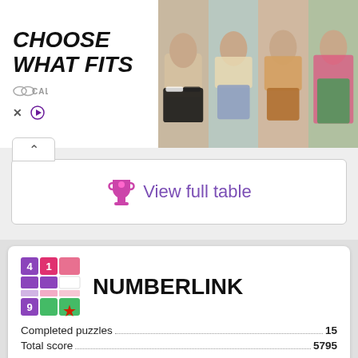[Figure (screenshot): Advertisement banner for Calia swimwear with text 'CHOOSE WHAT FITS' and Calia logo, plus model swimwear photos]
View full table
[Figure (screenshot): Numberlink game app logo — colorful numbered tile grid with a red star badge]
NUMBERLINK
Completed puzzles....................................................15
Total score..........................................................5795
| Rank | Player | Total score |
| --- | --- | --- |
| 1 | Trasfo ★ | 11801870 |
All-time | Monthly leaderboard tabs